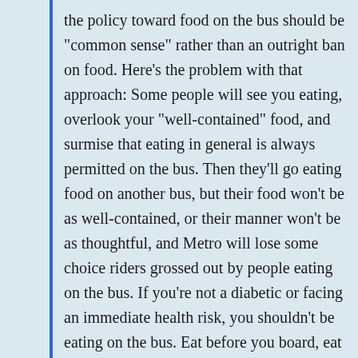the policy toward food on the bus should be "common sense" rather than an outright ban on food. Here's the problem with that approach: Some people will see you eating, overlook your "well-contained" food, and surmise that eating in general is always permitted on the bus. Then they'll go eating food on another bus, but their food won't be as well-contained, or their manner won't be as thoughtful, and Metro will lose some choice riders grossed out by people eating on the bus. If you're not a diabetic or facing an immediate health risk, you shouldn't be eating on the bus. Eat before you board, eat after you get off, or just go hungry for a few hours. Don't solve your problem (hunger) by creating a problem for other passengers.